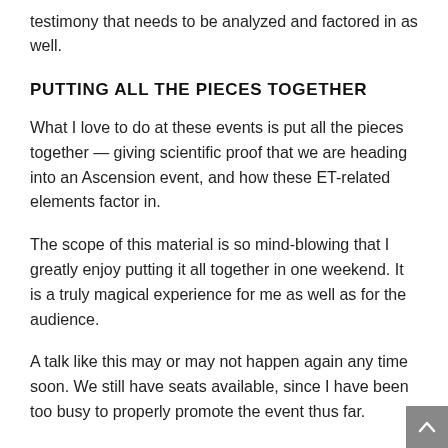testimony that needs to be analyzed and factored in as well.
PUTTING ALL THE PIECES TOGETHER
What I love to do at these events is put all the pieces together — giving scientific proof that we are heading into an Ascension event, and how these ET-related elements factor in.
The scope of this material is so mind-blowing that I greatly enjoy putting it all together in one weekend. It is a truly magical experience for me as well as for the audience.
A talk like this may or may not happen again any time soon. We still have seats available, since I have been too busy to properly promote the event thus far.
Everyone who comes to these events is dazzled. The last day of the event is July 29th, and I will analyze whatever has happened by that point in the public eye with Q Anon's epic promise.